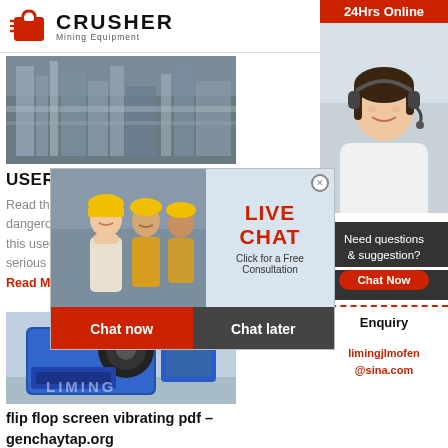[Figure (logo): Crusher Mining Equipment logo with red shopping bag icon and bold CRUSHER text]
[Figure (photo): Industrial plant or factory facility with pipes and equipment]
USER GUIDE – LG Electronics
Read these dangerous d this user gu serious inju
Read More
[Figure (photo): Blue industrial jaw crusher machine with LIMING watermark]
flip flop screen vibrating pdf – genchaytap.org
[Figure (photo): Live chat popup with workers in hard hats, LIVE CHAT heading and Chat now / Chat later buttons]
[Figure (photo): Sidebar: 24Hrs Online bar with customer service agent photo wearing headset]
Need questions & suggestion?
Chat Now
Enquiry
limingjlmofen@sina.com